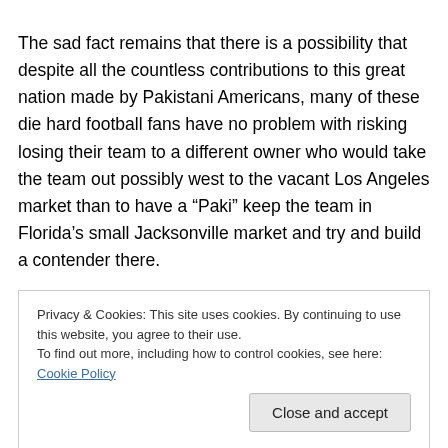The sad fact remains that there is a possibility that despite all the countless contributions to this great nation made by Pakistani Americans, many of these die hard football fans have no problem with risking losing their team to a different owner who would take the team out possibly west to the vacant Los Angeles market than to have a “Paki” keep the team in Florida’s small Jacksonville market and try and build a contender there.
Privacy & Cookies: This site uses cookies. By continuing to use this website, you agree to their use.
To find out more, including how to control cookies, see here: Cookie Policy
Close and accept